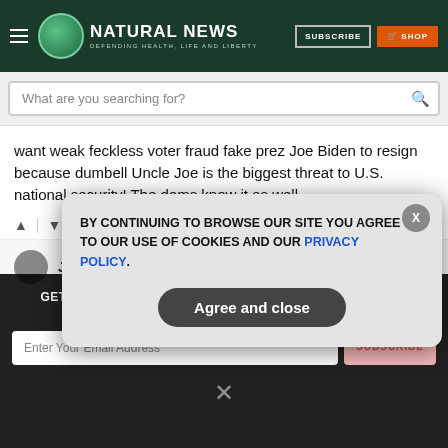Natural News — Defending Health, Life and Liberty
What are you searching for?
want weak feckless voter fraud fake prez Joe Biden to resign because dumbell Uncle Joe is the biggest threat to U.S. national security! The dems know it as well.
Reply
Janus' mirror
GET THE WORLD'S BEST NATURAL HEALTH NEWSLETTER DELIVERED STRAIGHT TO YOUR INBOX
Enter Your Email Address
SUBSCRIBE
BY CONTINUING TO BROWSE OUR SITE YOU AGREE TO OUR USE OF COOKIES AND OUR PRIVACY POLICY.
Agree and close